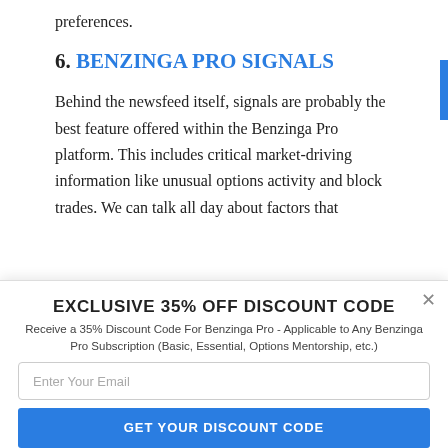preferences.
6. BENZINGA PRO SIGNALS
Behind the newsfeed itself, signals are probably the best feature offered within the Benzinga Pro platform. This includes critical market-driving information like unusual options activity and block trades. We can talk all day about factors that
EXCLUSIVE 35% OFF DISCOUNT CODE
Receive a 35% Discount Code For Benzinga Pro - Applicable to Any Benzinga Pro Subscription (Basic, Essential, Options Mentorship, etc.)
Enter Your Email
GET YOUR DISCOUNT CODE